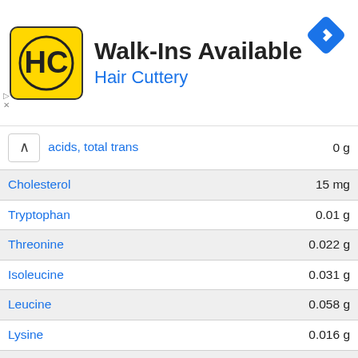[Figure (screenshot): Hair Cuttery advertisement banner with logo, 'Walk-Ins Available' title, and navigation icon]
| Nutrient | Amount |
| --- | --- |
| acids, total trans | 0 g |
| Cholesterol | 15 mg |
| Tryptophan | 0.01 g |
| Threonine | 0.022 g |
| Isoleucine | 0.031 g |
| Leucine | 0.058 g |
| Lysine | 0.016 g |
| Methionine | 0.015 g |
| Cystine | 0.019 g |
| Phenylalanine | 0.041 g |
| Tyrosine | 0.023 g |
| Valine | 0.035 g |